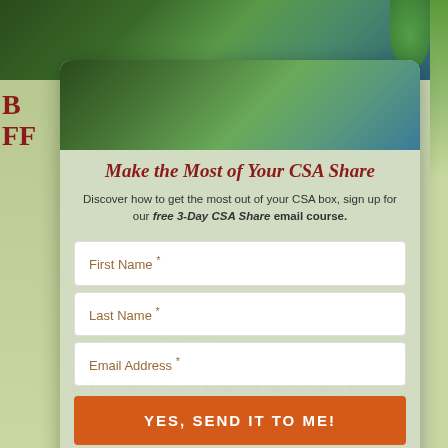[Figure (screenshot): Website popup modal over a blog page background. The modal has a header image with bokeh/nature background, a title 'Make the Most of Your CSA Share', subtitle text about a free 3-Day CSA Share email course, three form fields (First Name, Last Name, Email Address), a submit button 'YES, SEND IT TO ME!', and privacy/required fields notice. The background page shows a left sidebar with partial text, article title text, byline, and body text partially visible behind the modal.]
Make the Most of Your CSA Share
Discover how to get the most out of your CSA box, sign up for our free 3-Day CSA Share email course.
First Name *
Last Name *
Email Address *
YES, SEND IT TO ME!
Your privacy is important and your information will never be shared. Fields marked with an * are required.